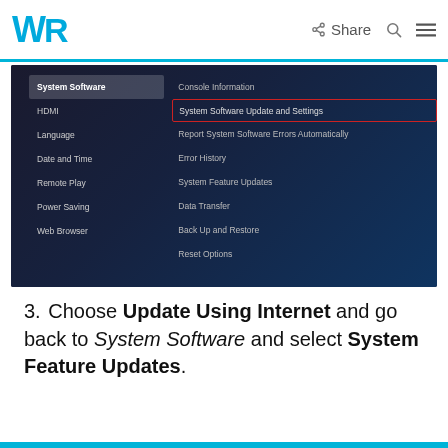WR | Share
[Figure (screenshot): PS4/PS5 system settings screenshot showing the System Software menu on the left with options: System Software (active), HDMI, Language, Date and Time, Remote Play, Power Saving, Web Browser. On the right: Console Information, System Software Update and Settings (highlighted with red border), Report System Software Errors Automatically, Error History, System Feature Updates, Data Transfer, Back Up and Restore, Reset Options.]
3. Choose Update Using Internet and go back to System Software and select System Feature Updates.